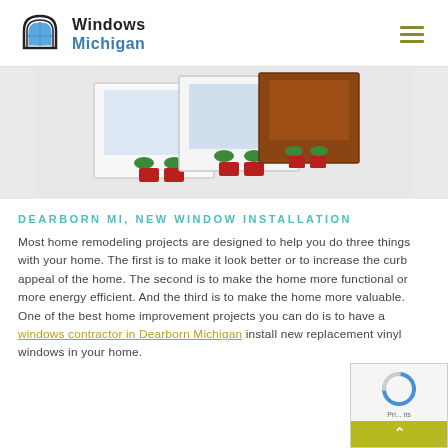Windows Michigan
[Figure (photo): Cross-section view of vinyl window profiles showing white and wood-grain colored frame sections with glass panes and seals]
DEARBORN MI, NEW WINDOW INSTALLATION
Most home remodeling projects are designed to help you do three things with your home. The first is to make it look better or to increase the curb appeal of the home. The second is to make the home more functional or more energy efficient. And the third is to make the home more valuable. One of the best home improvement projects you can do is to have a windows contractor in Dearborn Michigan install new replacement vinyl windows in your home.